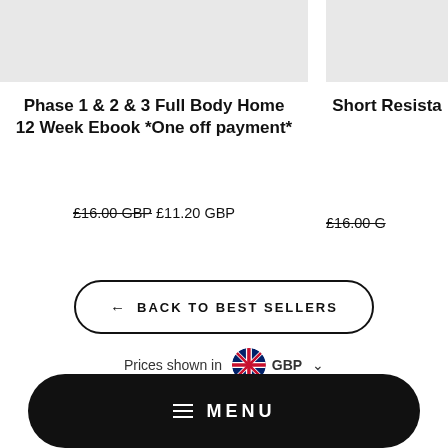[Figure (photo): Product image placeholder (left) - grey rectangle]
[Figure (photo): Product image placeholder (right, partially visible) - grey rectangle]
Phase 1 & 2 & 3 Full Body Home 12 Week Ebook *One off payment*
Short Resista
£16.00 GBP £11.20 GBP
£16.00 G
← BACK TO BEST SELLERS
Prices shown in GBP
Search   Privacy Policy   Refund Policy
≡ MENU